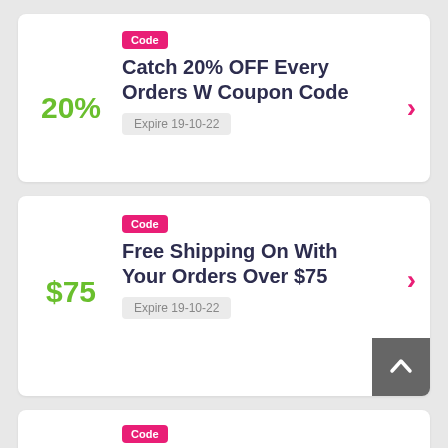Code
Catch 20% OFF Every Orders W Coupon Code
20%
Expire 19-10-22
Code
Free Shipping On With Your Orders Over $75
$75
Expire 19-10-22
Code